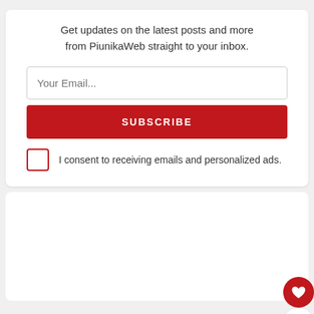Get updates on the latest posts and more from PiunikaWeb straight to your inbox.
Your Email...
SUBSCRIBE
I consent to receiving emails and personalized ads.
1